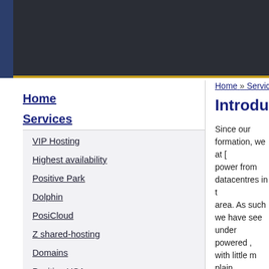[Dark header banner]
Home
Services
VIP Hosting
Highest availability
Positive Park
Dolphin
PosiCloud
Z shared-hosting
Domains
Positive USA
Home » Services » Positive
Introduction
Since our formation, we at [company] power from datacentres in [the] area. As such we have see[n] under powered , with little m[ore] plain.
It was time for a new idea, [to build from] scratch, for the internet usa[ge...]
We proudly introduce Posit[ive Park...]